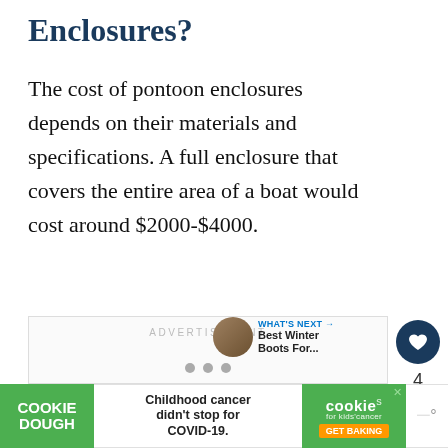Enclosures?
The cost of pontoon enclosures depends on their materials and specifications. A full enclosure that covers the entire area of a boat would cost around $2000-$4000.
[Figure (other): Advertisement placeholder box with ADVERTISEMENT label and three pagination dots, with a heart/like button showing count 4 and a share button. A 'WHAT'S NEXT' teaser for 'Best Winter Boots For...' appears in the bottom right.]
[Figure (other): Bottom advertisement banner: Cookie Dough brand ad with green background on left showing 'COOKIE DOUGH', center text 'Childhood cancer didn't stop for COVID-19.', right section showing 'cookies for kids cancer GET BAKING' in orange, with a close X button and mute icon.]